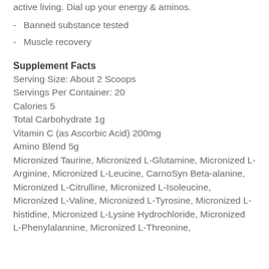active living. Dial up your energy & aminos.
Banned substance tested
Muscle recovery
Supplement Facts
Serving Size: About 2 Scoops
Servings Per Container: 20
Calories 5
Total Carbohydrate 1g
Vitamin C (as Ascorbic Acid) 200mg
Amino Blend 5g
Micronized Taurine, Micronized L-Glutamine, Micronized L-Arginine, Micronized L-Leucine, CarnoSyn Beta-alanine, Micronized L-Citrulline, Micronized L-Isoleucine, Micronized L-Valine, Micronized L-Tyrosine, Micronized L-histidine, Micronized L-Lysine Hydrochloride, Micronized L-Phenylalannine, Micronized L-Threonine,